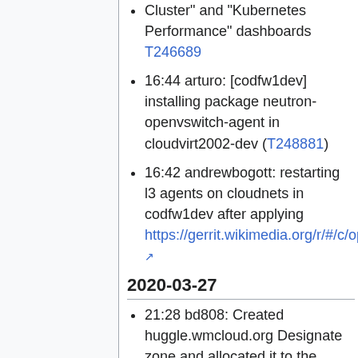Cluster" and "Kubernetes Performance" dashboards T246689
16:44 arturo: [codfw1dev] installing package neutron-openvswitch-agent in cloudvirt2002-dev (T248881)
16:42 andrewbogott: restarting l3 agents on cloudnets in codfw1dev after applying https://gerrit.wikimedia.org/r/#/c/operations/puppet/+/584188/
2020-03-27
21:28 bd808: Created huggle.wmcloud.org Designate zone and allocated it to the huggle project
19:51 jeh: start haproxy on cloudcontrol2003-dev.wikimedia.org
2020-03-26
15:01 arturo: icinga downtime